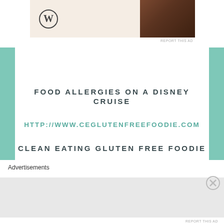[Figure (screenshot): Top portion of a blog page showing a WordPress ad banner with WordPress logo and a dark brown partial image on the right, on a beige/cream background]
REPORT THIS AD
FOOD ALLERGIES ON A DISNEY CRUISE
HTTP://WWW.CEGLUTENFREEFOODIE.COM
CLEAN EATING GLUTEN FREE FOODIE
Advertisements
REPORT THIS AD